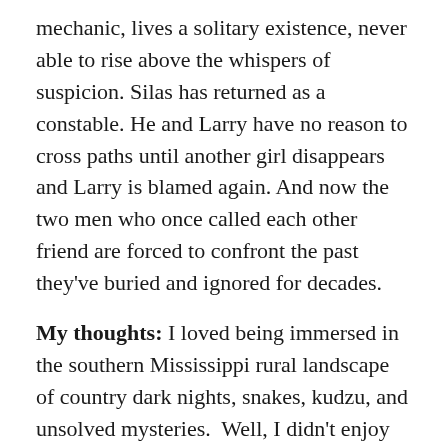mechanic, lives a solitary existence, never able to rise above the whispers of suspicion. Silas has returned as a constable. He and Larry have no reason to cross paths until another girl disappears and Larry is blamed again. And now the two men who once called each other friend are forced to confront the past they've buried and ignored for decades.
My thoughts: I loved being immersed in the southern Mississippi rural landscape of country dark nights, snakes, kudzu, and unsolved mysteries.  Well, I didn't enjoy the snakes so much.
“Scary Larry” Ott is the prime suspect in the recent disappearance of a local college student.